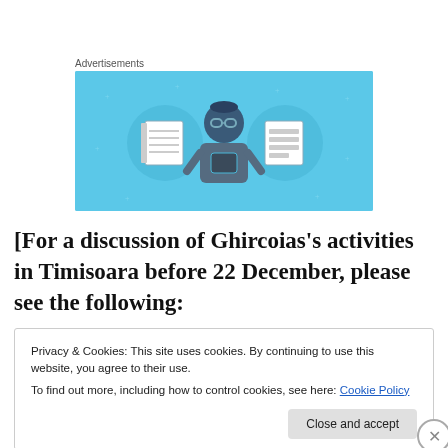Advertisements
[Figure (illustration): Advertisement banner with light blue background showing an illustrated person holding a phone, flanked by circular icons of a notebook and a lined document]
[For a discussion of Ghircoias's activities in Timisoara before 22 December, please see the following:
Privacy & Cookies: This site uses cookies. By continuing to use this website, you agree to their use.
To find out more, including how to control cookies, see here: Cookie Policy
Close and accept